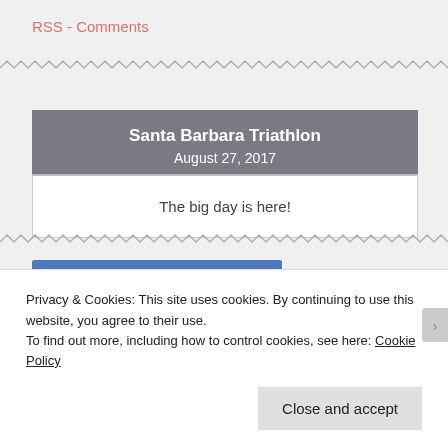RSS - Comments
[Figure (other): Wavy/zigzag decorative line separator]
Santa Barbara Triathlon
August 27, 2017
The big day is here!
[Figure (other): Wavy/zigzag decorative line separator]
[Figure (other): Blue horizontal bar element]
Privacy & Cookies: This site uses cookies. By continuing to use this website, you agree to their use.
To find out more, including how to control cookies, see here: Cookie Policy
Close and accept